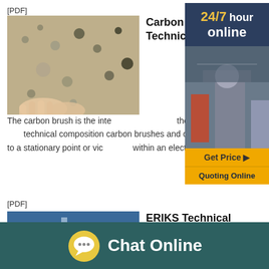[PDF]
[Figure (photo): Close-up photo of granular mineral/sand material with a hand touching it]
Carbon Brush Holder Technical Handbook
The carbon brush is the interface element for the transfer of current in the rotating machine and although they differ in size, shape technical composition carbon brushes and collectors fulfil the same basic function This is to transfer current from a moving device to a stationary point or vice versa within an electric circuit
[Figure (infographic): Ad banner: dark blue background with '24/7 hour online' text in gold/white, image of industrial machinery, 'Get Price' button, 'Quoting Online' button]
[PDF]
[Figure (photo): Industrial machinery with blue and metal components, possibly a mining or processing machine]
ERIKS Technical Manual O-ring Gland Design
Because the metal parts are pressed or screwed together there is always a
[Figure (infographic): Chat Online footer bar with chat bubble icon and 'Chat Online' text on dark teal background]